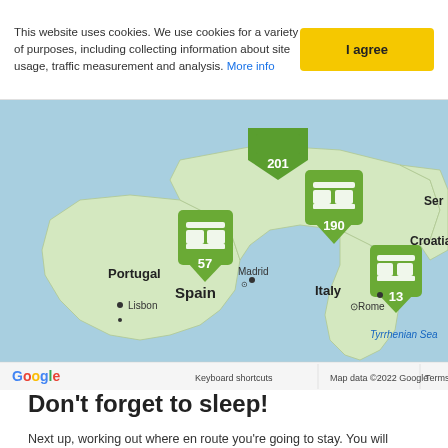This website uses cookies. We use cookies for a variety of purposes, including collecting information about site usage, traffic measurement and analysis. More info
[Figure (map): Google map showing western Europe including Portugal, Spain, France, Italy, Croatia. Several green map pins with accommodation counts: 201, 57, 190, 13. Cities labeled: Lisbon, Madrid, Rome. Bodies of water: Tyrrhenian Sea. Google branding and copyright at bottom.]
Don't forget to sleep!
Next up, working out where en route you're going to stay. You will probably have a general idea of how many miles you'd like to cover each day, so does your route have a small town or campsite close enough to your mileage? Outside of high season (July and August) and as long as you're not in a big group, you'll usually be fine to turn up unannounced. But it's good to have done some pre-trip research so you have a few places in mind (and their contact details and address to hand), just in case your Plan A doesn't work out. All this research can